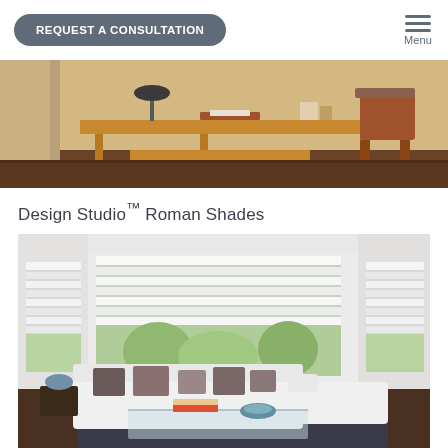REQUEST A CONSULTATION | Menu
[Figure (photo): Interior home office scene with a wooden desk, chair, books, and warm sunlight through windows]
Design Studio™ Roman Shades
[Figure (photo): Bright living room with white Roman shades on large windows, white sectional sofa with dark pillows, and glass coffee table]